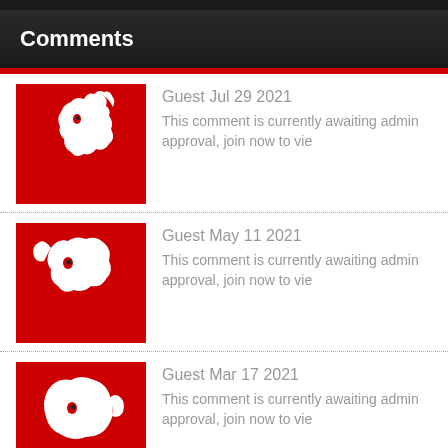Comments
Guest Jul 29 2021 — This comment is currently awaiting admin approval, join now to vie
Guest May 11 2021 — This comment is currently awaiting admin approval, join now to vie
Guest Mar 17 2021 — This comment is currently awaiting admin approval, join now to vie
Guest Mar 13 2021 — This comment is currently awaiting admin approval, join now to vie
Guest May 11 2019 — OMG THIS IS HORROR